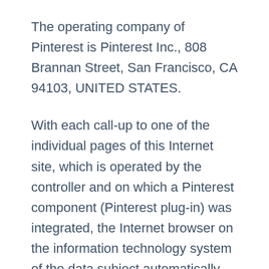The operating company of Pinterest is Pinterest Inc., 808 Brannan Street, San Francisco, CA 94103, UNITED STATES.
With each call-up to one of the individual pages of this Internet site, which is operated by the controller and on which a Pinterest component (Pinterest plug-in) was integrated, the Internet browser on the information technology system of the data subject automatically prompted to download through the respective Pinterest component a display of the corresponding Pinterest component. Further information on Pinterest is